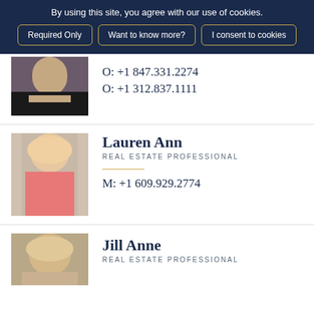By using this site, you agree with our use of cookies.
Required Only | Want to know more? | I consent to cookies
[Figure (photo): Partial photo of a woman in a black dress with bracelets, cropped at top]
O: +1 847.331.2274
O: +1 312.837.1111
[Figure (photo): Photo of Lauren Ann, a blonde woman in a pink outfit, real estate professional]
Lauren Ann
REAL ESTATE PROFESSIONAL
M: +1 609.929.2774
[Figure (photo): Photo of Jill Anne, a blonde woman, real estate professional, partially cut off]
Jill Anne
REAL ESTATE PROFESSIONAL